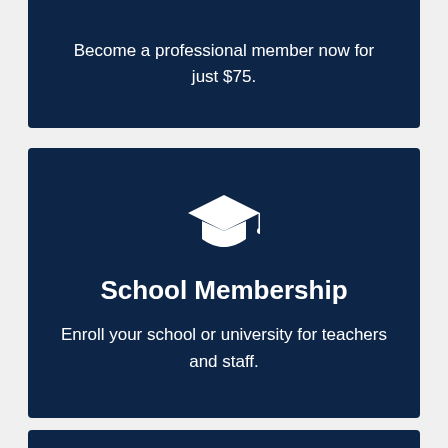Become a professional member now for just $75.
[Figure (illustration): Graduation cap icon (white) representing School Membership]
School Membership
Enroll your school or university for teachers and staff.